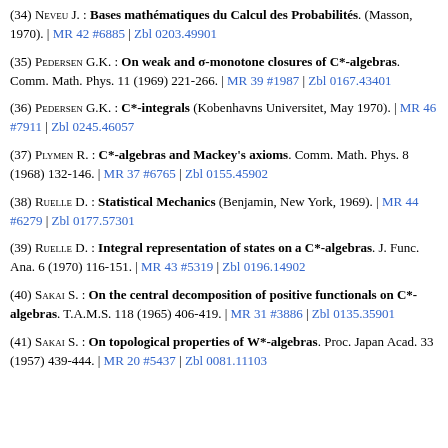(34) Neveu J. : Bases mathématiques du Calcul des Probabilités. (Masson, 1970). | MR 42 #6885 | Zbl 0203.49901
(35) Pedersen G.K. : On weak and σ-monotone closures of C*-algebras. Comm. Math. Phys. 11 (1969) 221-266. | MR 39 #1987 | Zbl 0167.43401
(36) Pedersen G.K. : C*-integrals (Kobenhavns Universitet, May 1970). | MR 46 #7911 | Zbl 0245.46057
(37) Plymen R. : C*-algebras and Mackey's axioms. Comm. Math. Phys. 8 (1968) 132-146. | MR 37 #6765 | Zbl 0155.45902
(38) Ruelle D. : Statistical Mechanics (Benjamin, New York, 1969). | MR 44 #6279 | Zbl 0177.57301
(39) Ruelle D. : Integral representation of states on a C*-algebras. J. Func. Ana. 6 (1970) 116-151. | MR 43 #5319 | Zbl 0196.14902
(40) Sakai S. : On the central decomposition of positive functionals on C*-algebras. T.A.M.S. 118 (1965) 406-419. | MR 31 #3886 | Zbl 0135.35901
(41) Sakai S. : On topological properties of W*-algebras. Proc. Japan Acad. 33 (1957) 439-444. | MR 20 #5437 | Zbl 0081.11103